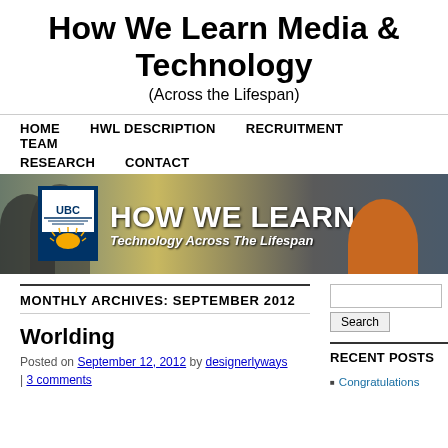How We Learn Media & Technology
(Across the Lifespan)
HOME  HWL DESCRIPTION  RECRUITMENT  TEAM  RESEARCH  CONTACT
[Figure (photo): UBC How We Learn banner image showing UBC logo, text 'HOW WE LEARN' and tagline 'Technology Across The Lifespan' with people in background]
MONTHLY ARCHIVES: SEPTEMBER 2012
Worlding
Posted on September 12, 2012 by designerlyways | 3 comments
RECENT POSTS
Congratulations